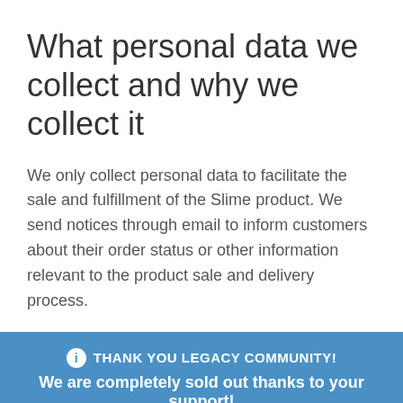What personal data we collect and why we collect it
We only collect personal data to facilitate the sale and fulfillment of the Slime product. We send notices through email to inform customers about their order status or other information relevant to the product sale and delivery process.
THANK YOU LEGACY COMMUNITY! We are completely sold out thanks to your support! Dismiss
Cookies